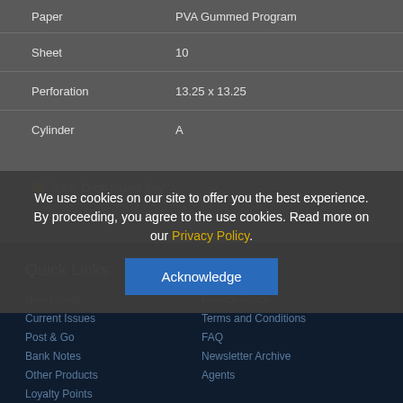| Paper | PVA Gummed Program |
| Sheet | 10 |
| Perforation | 13.25 x 13.25 |
| Cylinder | A |
Sark: Dark Island Sky
We use cookies on our site to offer you the best experience. By proceeding, you agree to the use cookies. Read more on our Privacy Policy.
Acknowledge
Quick Links
Legal
New Issues
Current Issues
Post & Go
Bank Notes
Other Products
Loyalty Points
Privacy Policy
Terms and Conditions
FAQ
Newsletter Archive
Agents